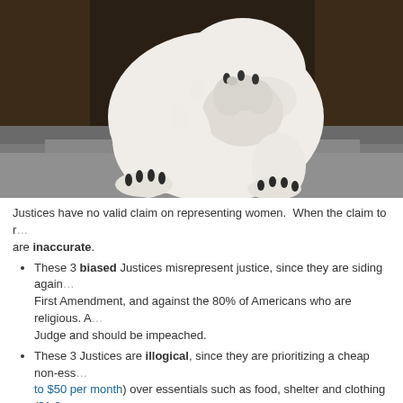[Figure (photo): A white polar bear on a rock with its paw covering its face, in a facepalm pose. Dark rocky background.]
Justices have no valid claim on representing women. When the claim to represent women are inaccurate.
These 3 biased Justices misrepresent justice, since they are siding against the First Amendment, and against the 80% of Americans who are religious. A Judge and should be impeached.
These 3 Justices are illogical, since they are prioritizing a cheap non-essential (to $50 per month) over essentials such as food, shelter and clothing ($1,3 needs which are not provided free of charge to American citizens. Don't American citizens are obliged to work to provide their own essential need psychologically impaired?